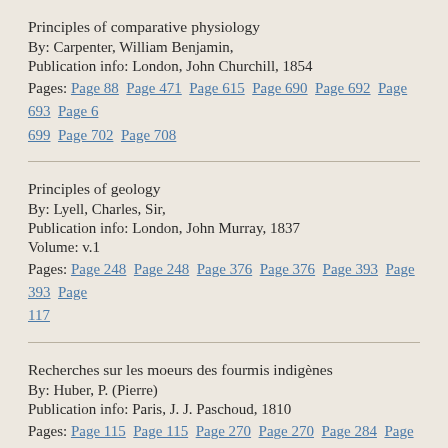Principles of comparative physiology
By: Carpenter, William Benjamin,
Publication info: London, John Churchill, 1854
Pages: Page 88  Page 471  Page 615  Page 690  Page 692  Page 693  Page 6... 699  Page 702  Page 708
Principles of geology
By: Lyell, Charles, Sir,
Publication info: London, John Murray, 1837
Volume: v.1
Pages: Page 248  Page 248  Page 376  Page 376  Page 393  Page 393  Page... 117
Recherches sur les moeurs des fourmis indigènes
By: Huber, P. (Pierre)
Publication info: Paris, J. J. Paschoud, 1810
Pages: Page 115  Page 115  Page 270  Page 270  Page 284  Page 284  Page...